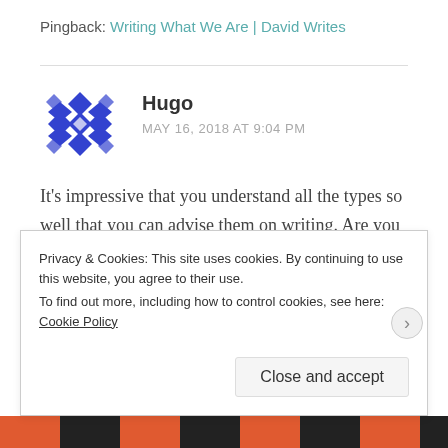Pingback: Writing What We Are | David Writes
Hugo
MAY 16, 2018 AT 9:04 PM
It's impressive that you understand all the types so well that you can advise them on writing. Are you an INFP yourself?
Privacy & Cookies: This site uses cookies. By continuing to use this website, you agree to their use.
To find out more, including how to control cookies, see here: Cookie Policy
Close and accept